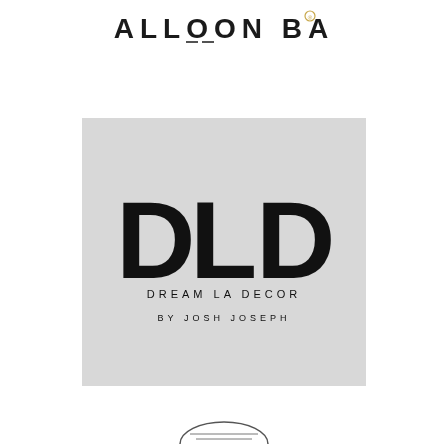[Figure (logo): Balloon Bar logo text at top of page]
[Figure (logo): DLD Dream La Decor by Josh Joseph logo on light gray background]
[Figure (logo): Partial circular logo at bottom of page]